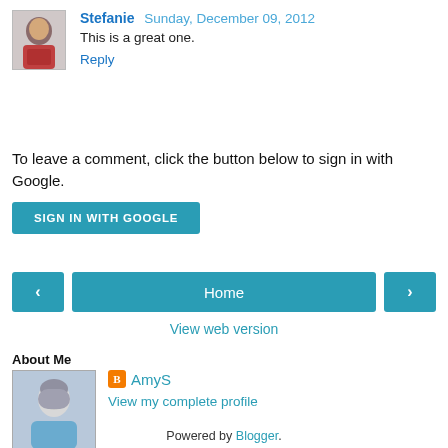[Figure (photo): User avatar photo of Stefanie, a woman in a red top]
Stefanie  Sunday, December 09, 2012
This is a great one.
Reply
To leave a comment, click the button below to sign in with Google.
[Figure (screenshot): Blue button: SIGN IN WITH GOOGLE]
[Figure (screenshot): Navigation buttons: left arrow, Home, right arrow]
View web version
About Me
[Figure (illustration): Sketch illustration of a person with blue clothing on light blue background]
AmyS
View my complete profile
Powered by Blogger.